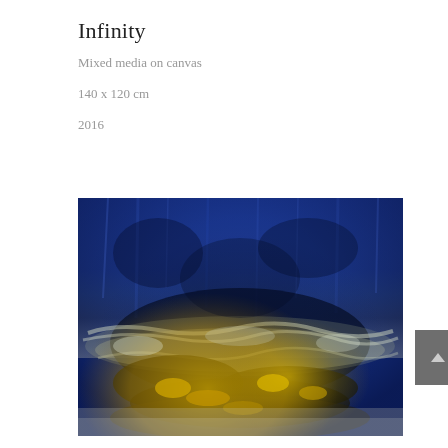Infinity
Mixed media on canvas
140 x 120 cm
2016
[Figure (photo): Abstract mixed media painting on canvas showing deep blue upper area transitioning to a textured lower section with yellows, whites, and dark earth tones, resembling a seascape or landscape from above.]